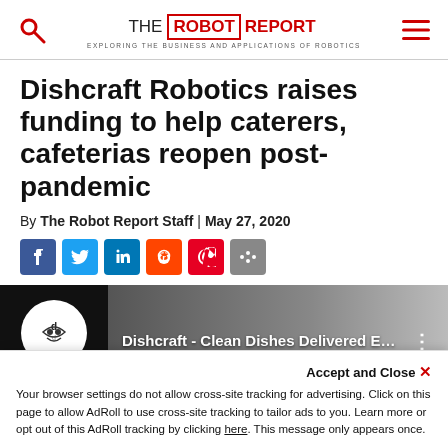THE ROBOT REPORT — EXPLORING THE BUSINESS AND APPLICATIONS OF ROBOTICS
Dishcraft Robotics raises funding to help caterers, cafeterias reopen post-pandemic
By The Robot Report Staff | May 27, 2020
[Figure (other): Social share buttons: Facebook, Twitter, LinkedIn, Reddit, Pinterest, Share]
[Figure (screenshot): Video thumbnail: Dishcraft logo on dark background with title 'Dishcraft - Clean Dishes Delivered E...' and three-dot menu icon]
Accept and Close ×
Your browser settings do not allow cross-site tracking for advertising. Click on this page to allow AdRoll to use cross-site tracking to tailor ads to you. Learn more or opt out of this AdRoll tracking by clicking here. This message only appears once.